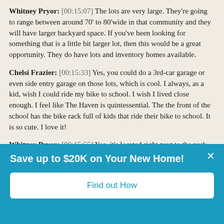Whitney Pryor: [00:15:07] The lots are very large. They're going to range between around 70' to 80'wide in that community and they will have larger backyard space. If you've been looking for something that is a little bit larger lot, then this would be a great opportunity. They do have lots and inventory homes available.
Chelsi Frazier: [00:15:33] Yes, you could do a 3rd-car garage or even side entry garage on those lots, which is cool. I always, as a kid, wish I could ride my bike to school. I wish I lived close enough. I feel like The Haven is quintessential. The the front of the school has the bike rack full of kids that ride their bike to school. It is so cute. I love it!
Whitney Pryor: [00:15:55] Yea, it's located right next to the park ,as well. They got the park right there too.
Save up to $20K on Your New Home!
Find out How